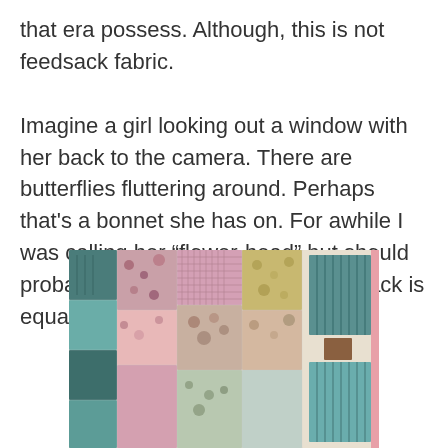that era possess. Although, this is not feedsack fabric.

Imagine a girl looking out a window with her back to the camera. There are butterflies fluttering around. Perhaps that's a bonnet she has on. For awhile I was calling her “flower-head” but should probably not be so irreverent. The back is equally impressive:
[Figure (photo): A patchwork quilt showing a colorful arrangement of fabric pieces in teal, pink, floral, and gingham patterns.]